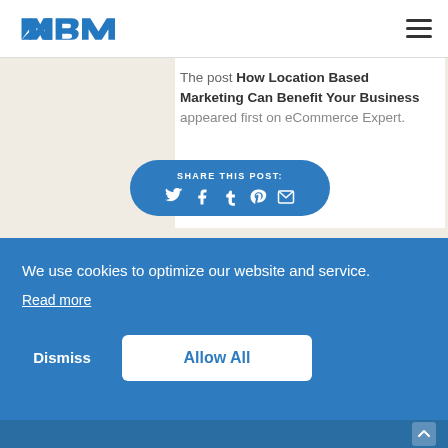MBM logo and navigation menu
The post How Location Based Marketing Can Benefit Your Business appeared first on eCommerce Expert.
[Figure (infographic): Share This Post button with social media icons: Twitter, Facebook, Tumblr, Pinterest, Email on a blue rounded rectangle]
We use cookies to optimize our website and service.
Read more
Dismiss
Allow All